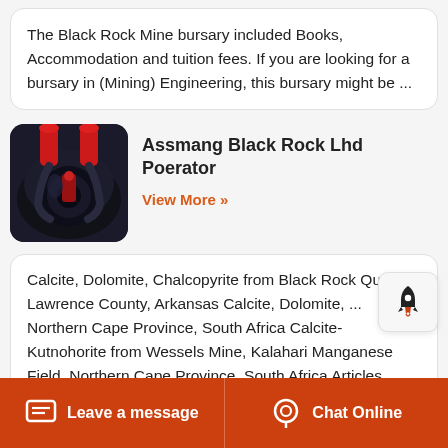The Black Rock Mine bursary included Books, Accommodation and tuition fees. If you are looking for a bursary in (Mining) Engineering, this bursary might be ...
[Figure (photo): Industrial machinery photo — mining equipment with red and black metallic parts]
Assmang Black Rock Lhd Poerator
View More »
Calcite, Dolomite, Chalcopyrite from Black Rock Quarry, Lawrence County, Arkansas Calcite, Dolomite, ... Northern Cape Province, South Africa Calcite-Kutnohorite from Wessels Mine, Kalahari Manganese Field, Northern Cape Province, South Africa Articles Relating
Leave a message   Chat Online